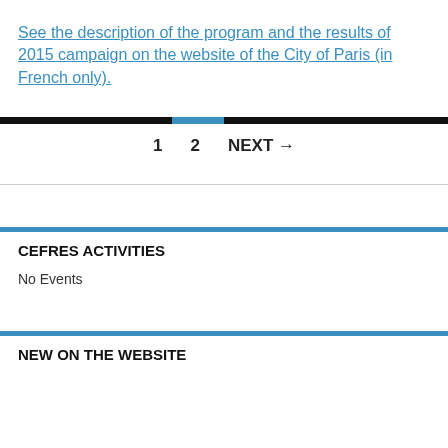See the description of the program and the results of 2015 campaign on the website of the City of Paris (in French only).
1   2   NEXT →
CEFRES ACTIVITIES
No Events
NEW ON THE WEBSITE